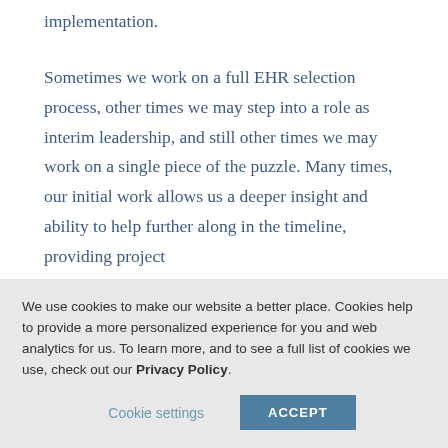implementation.
Sometimes we work on a full EHR selection process, other times we may step into a role as interim leadership, and still other times we may work on a single piece of the puzzle. Many times, our initial work allows us a deeper insight and ability to help further along in the timeline, providing project
We use cookies to make our website a better place. Cookies help to provide a more personalized experience for you and web analytics for us. To learn more, and to see a full list of cookies we use, check out our Privacy Policy.
Cookie settings
ACCEPT